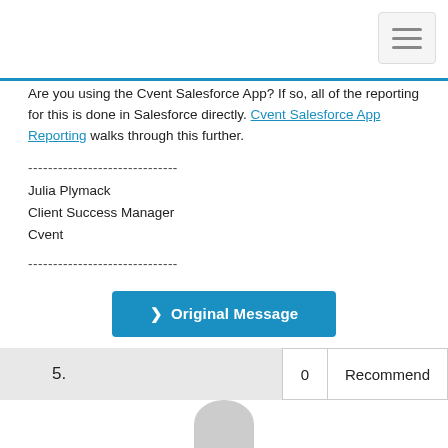[Figure (other): Hamburger menu button (three horizontal lines) in top right corner]
Are you using the Cvent Salesforce App? If so, all of the reporting for this is done in Salesforce directly. Cvent Salesforce App Reporting walks through this further.
------------------------------
Julia Plymack
Client Success Manager
Cvent
------------------------------
[Figure (other): Blue button labeled '> Original Message']
5.
0   Recommend
[Figure (other): User avatar (gray rounded shape) at bottom center]